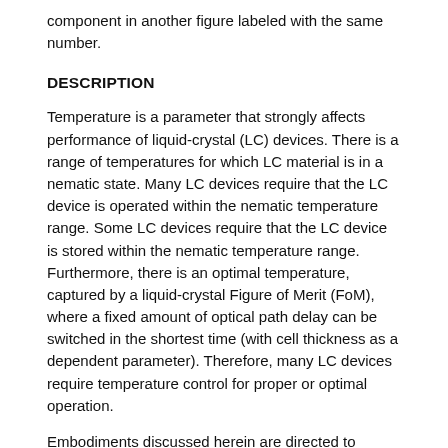component in another figure labeled with the same number.
DESCRIPTION
Temperature is a parameter that strongly affects performance of liquid-crystal (LC) devices. There is a range of temperatures for which LC material is in a nematic state. Many LC devices require that the LC device is operated within the nematic temperature range. Some LC devices require that the LC device is stored within the nematic temperature range. Furthermore, there is an optimal temperature, captured by a liquid-crystal Figure of Merit (FoM), where a fixed amount of optical path delay can be switched in the shortest time (with cell thickness as a dependent parameter). Therefore, many LC devices require temperature control for proper or optimal operation.
Embodiments discussed herein are directed to temperature control of LC devices through resistive heating. Liquid-crystal devices generally include some sort of transparent electrode, for example a transparent conductive oxide or a thin metallic layer. A standard method allows that Small amounts and large called by